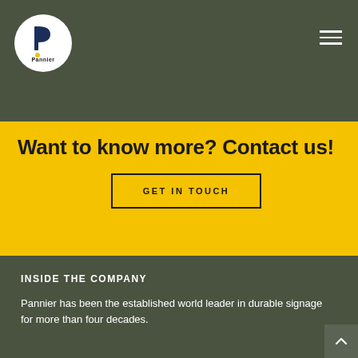[Figure (logo): Pannier company logo — circular white badge with stylized blue P mark and yellow dot, 'Pannier' text below]
Want to know more? Contact us!
GET IN TOUCH
INSIDE THE COMPANY
Pannier has been the established world leader in durable signage for more than four decades.